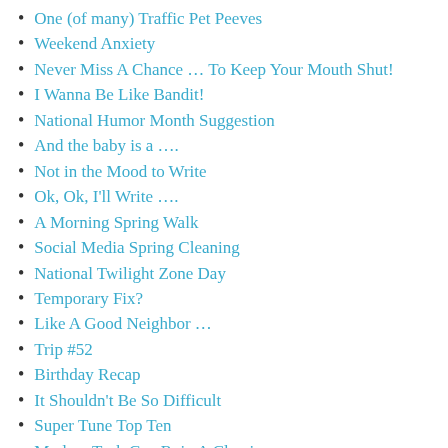One (of many) Traffic Pet Peeves
Weekend Anxiety
Never Miss A Chance … To Keep Your Mouth Shut!
I Wanna Be Like Bandit!
National Humor Month Suggestion
And the baby is a ….
Not in the Mood to Write
Ok, Ok, I'll Write ….
A Morning Spring Walk
Social Media Spring Cleaning
National Twilight Zone Day
Temporary Fix?
Like A Good Neighbor …
Trip #52
Birthday Recap
It Shouldn't Be So Difficult
Super Tune Top Ten
Modern Tech Can Ruin A Classic
BUZZ OFF!
What's In A Name (Part 2)
Gone Fishing
Memorial Day Weekend Recap
The Things I Notice …
Happy 79th to Capitol Records